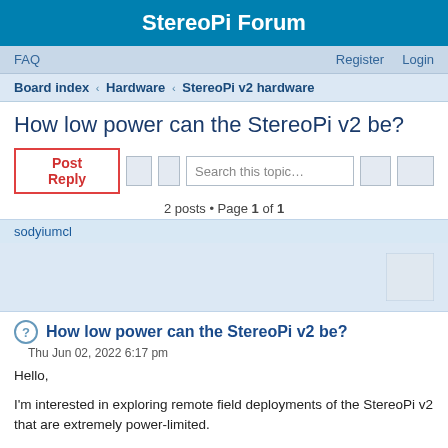StereoPi Forum
FAQ    Register    Login
Board index ‹ Hardware ‹ StereoPi v2 hardware
How low power can the StereoPi v2 be?
Post Reply    Search this topic...
2 posts • Page 1 of 1
sodyiumcl
How low power can the StereoPi v2 be?
Thu Jun 02, 2022 6:17 pm
Hello,

I'm interested in exploring remote field deployments of the StereoPi v2 that are extremely power-limited.

Is there a way to keep the StereoPi v2 in a "sleep" or "rest" state until it is triggered to take a picture by some external sensor? If I turn EVERYTHING off except the ability to be triggered to take a still stereo